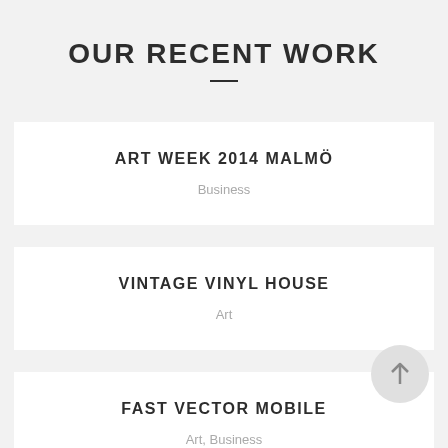OUR RECENT WORK
ART WEEK 2014 MALMÖ
Business
VINTAGE VINYL HOUSE
Art
FAST VECTOR MOBILE
Art, Business